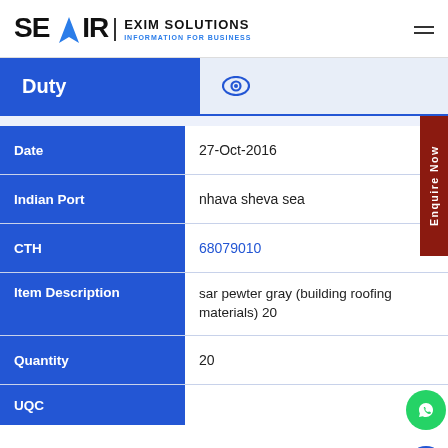SEAIR EXIM SOLUTIONS — INFORMATION FOR BUSINESS
Duty
| Field | Value |
| --- | --- |
| Date | 27-Oct-2016 |
| Indian Port | nhava sheva sea |
| CTH | 68079010 |
| Item Description | sar pewter gray (building roofing materials) 20 |
| Quantity | 20 |
| UQC |  |